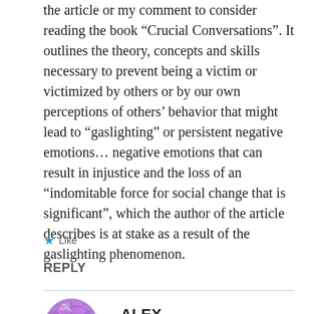the article or my comment to consider reading the book “Crucial Conversations”. It outlines the theory, concepts and skills necessary to prevent being a victim or victimized by others or by our own perceptions of others’ behavior that might lead to “gaslighting” or persistent negative emotions… negative emotions that can result in injustice and the loss of an “indomitable force for social change that is significant”, which the author of the article describes is at stake as a result of the gaslighting phenomenon.
★ Like
REPLY
[Figure (illustration): Circular avatar icon with purple/violet geometric abstract design for user ALEX]
ALEX